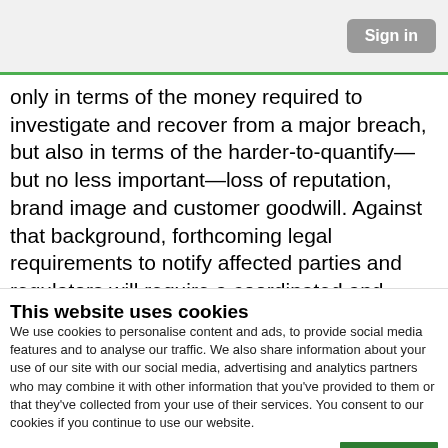Sign in
only in terms of the money required to investigate and recover from a major breach, but also in terms of the harder-to-quantify—but no less important—loss of reputation, brand image and customer goodwill. Against that background, forthcoming legal requirements to notify affected parties and regulators will require a coordinated and practiced response.
This website uses cookies
We use cookies to personalise content and ads, to provide social media features and to analyse our traffic. We also share information about your use of our site with our social media, advertising and analytics partners who may combine it with other information that you've provided to them or that they've collected from your use of their services. You consent to our cookies if you continue to use our website.
| ✓ Necessary   ✓ Preferences   ✓ Statistics
☐ Marketing | Show details ▼ |